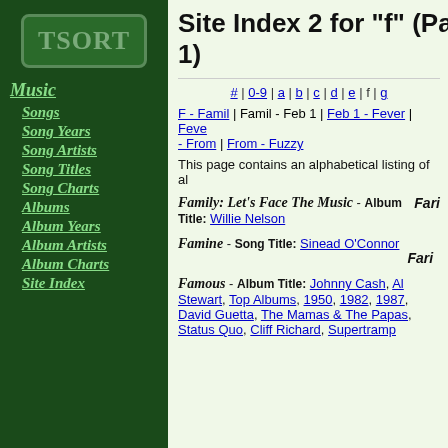[Figure (logo): TSORT logo in green text on dark green background with border]
Music
Songs
Song Years
Song Artists
Song Titles
Song Charts
Albums
Album Years
Album Artists
Album Charts
Site Index
Site Index 2 for "f" (Page 1)
# | 0-9 | a | b | c | d | e | f | g
F - Famil | Famil - Feb 1 | Feb 1 - Fever | Fever - From | From - Fuzzy
This page contains an alphabetical listing of al
Family: Let's Face The Music - Album Title: Willie Nelson
Famine - Song Title: Sinead O'Connor
Famous - Album Title: Johnny Cash, Al Stewart, Top Albums, 1950, 1982, 1987, David Guetta, The Mamas & The Papas, Status Quo, Cliff Richard, Supertramp